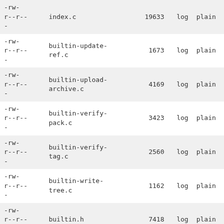| permissions | filename | size | log | plain |
| --- | --- | --- | --- | --- |
| -rw-r--r-- | index.c | 19633 | log | plain |
| -rw-r--r-- | builtin-update-ref.c | 1673 | log | plain |
| -rw-r--r-- | builtin-upload-archive.c | 4169 | log | plain |
| -rw-r--r-- | builtin-verify-pack.c | 3423 | log | plain |
| -rw-r--r-- | builtin-verify-tag.c | 2560 | log | plain |
| -rw-r--r-- | builtin-write-tree.c | 1162 | log | plain |
| -rw-r--r-- | builtin.h | 7418 | log | plain |
| -rw-r--r-- | bundle.c | 10595 | log | plain |
| -rw-r--r-- | bundle.h | 627 | log | plain |
| -rw-r--r-- | cache-tree.c | 14728 | log | plain |